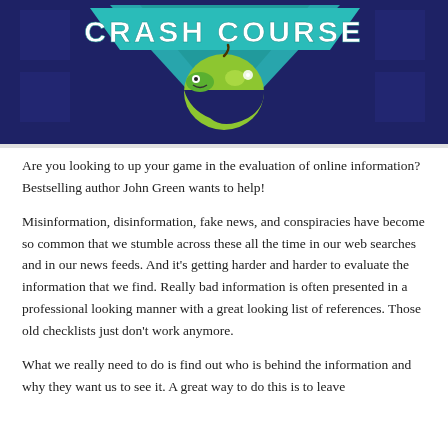[Figure (illustration): Crash Course logo banner: dark navy background with teal triangle, green apple with worm character, and bold white text 'CRASH COURSE' at the top]
Are you looking to up your game in the evaluation of online information? Bestselling author John Green wants to help!
Misinformation, disinformation, fake news, and conspiracies have become so common that we stumble across these all the time in our web searches and in our news feeds. And it's getting harder and harder to evaluate the information that we find. Really bad information is often presented in a professional looking manner with a great looking list of references. Those old checklists just don't work anymore.
What we really need to do is find out who is behind the information and why they want us to see it. A great way to do this is to leave...